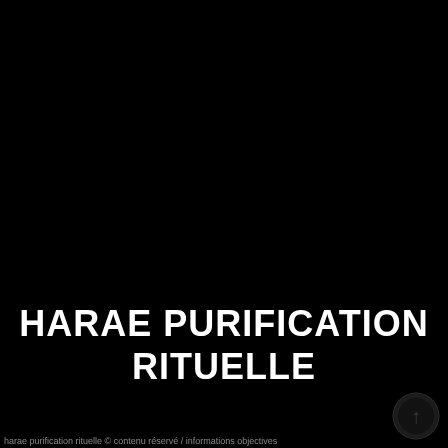HARAE PURIFICATION RITUELLE
[Figure (logo): Small dark watermark logo in the bottom-right corner, circular design with an arrow or upward symbol]
harae purification rituelle © contenu réservé / informations objectives